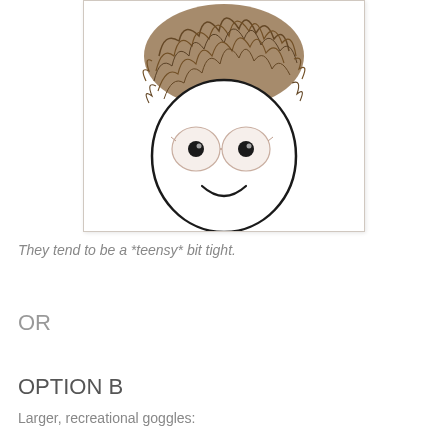[Figure (illustration): Child's drawing of a cartoon face with curly brown hair piled on top, large round glasses/goggles with eyes looking outward, and a simple curved smile. The face is drawn as a plain circle outline on a white background.]
They tend to be a *teensy* bit tight.
OR
OPTION B
Larger, recreational goggles: